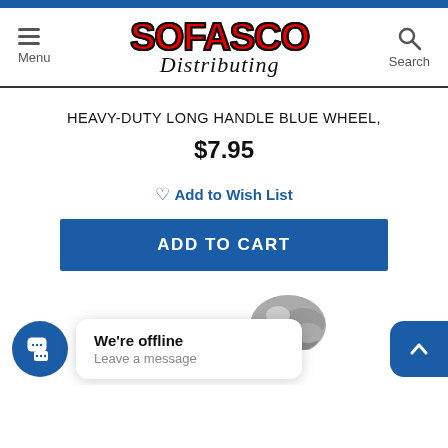[Figure (logo): Sofasco Distributing logo with red bold SOFASCO text and black cursive Distributing script]
HEAVY-DUTY LONG HANDLE BLUE WHEEL,
$7.95
♡ Add to Wish List
ADD TO CART
[Figure (photo): Partial product photo visible at bottom of page]
We're offline
Leave a message